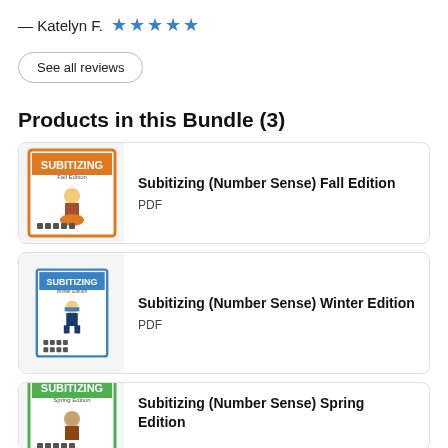— Katelyn F. ★★★★★
See all reviews
Products in this Bundle (3)
[Figure (illustration): Thumbnail of Subitizing Fall Edition workbook cover with orange border, cartoon child, and dot patterns]
Subitizing (Number Sense) Fall Edition
PDF
[Figure (illustration): Thumbnail of Subitizing Winter Edition workbook cover with blue border, cartoon child in winter clothes, and dot patterns]
Subitizing (Number Sense) Winter Edition
PDF
[Figure (illustration): Thumbnail of Subitizing Spring Edition workbook cover with green border, cartoon child, and dot patterns]
Subitizing (Number Sense) Spring Edition